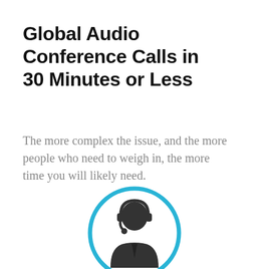Global Audio Conference Calls in 30 Minutes or Less
The more complex the issue, and the more people who need to weigh in, the more time you will likely need.
[Figure (illustration): A customer service / headset operator icon: a person wearing a headset with microphone, dressed in a suit with tie, enclosed in a blue circle outline.]